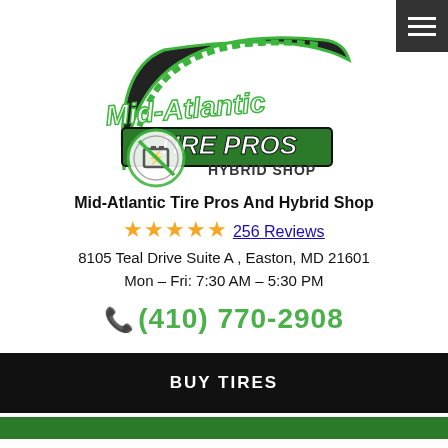[Figure (logo): Mid-Atlantic Tire Pros and Hybrid Shop logo — green tire/wheel arc with bold text 'Mid-Atlantic TIRE PROS' and a hybrid shop badge icon]
Mid-Atlantic Tire Pros And Hybrid Shop
★★★★★ 256 Reviews
8105 Teal Drive Suite A , Easton, MD 21601
Mon – Fri: 7:30 AM – 5:30 PM
(410) 770-2908
BUY TIRES